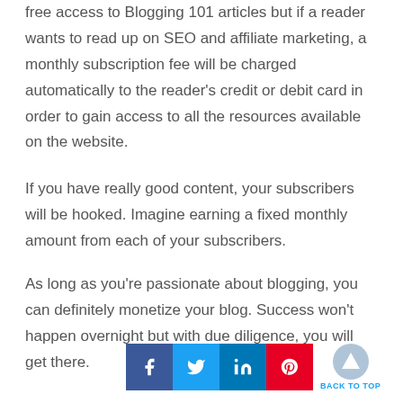free access to Blogging 101 articles but if a reader wants to read up on SEO and affiliate marketing, a monthly subscription fee will be charged automatically to the reader's credit or debit card in order to gain access to all the resources available on the website.
If you have really good content, your subscribers will be hooked. Imagine earning a fixed monthly amount from each of your subscribers.
As long as you're passionate about blogging, you can definitely monetize your blog. Success won't happen overnight but with due diligence, you will get there.